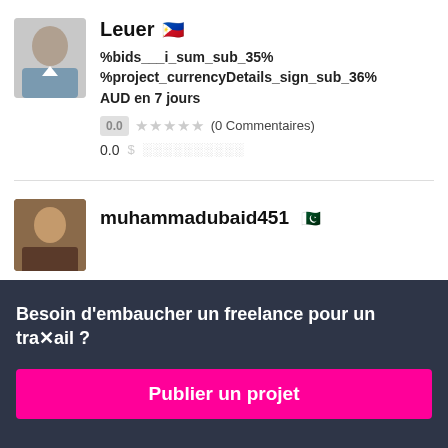[Figure (photo): Profile avatar photo of Leuer, a man in a light shirt, gray background]
Leuer 🇵🇭
%bids___i_sum_sub_35% %project_currencyDetails_sign_sub_36% AUD en 7 jours
0.0 ★★★★★ (0 Commentaires)
0.0 $ ░░░░░░░░░░
[Figure (photo): Profile avatar photo of muhammadubaid451, a man]
muhammadubaid451 🇵🇰
Besoin d'embaucher un freelance pour un travail ?
Publier un projet